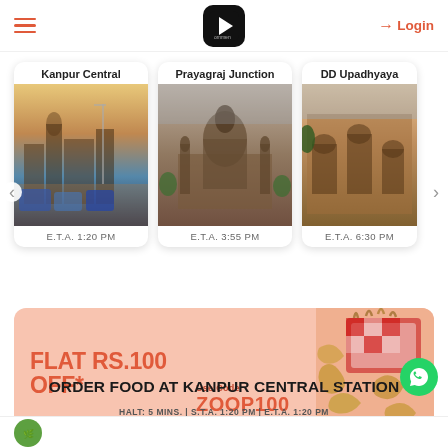Login
[Figure (screenshot): Station cards carousel showing Kanpur Central (ETA 1:20 PM), Prayagraj Junction (ETA 3:55 PM), DD Upadhyaya (ETA 6:30 PM)]
[Figure (infographic): Promotional banner: FLAT RS.100 OFF* Use Code ZOOP100 *ON ORDERS ABOVE RS. 650]
ORDER FOOD AT KANPUR CENTRAL STATION
HALT: 5 MINS. | S.T.A. 1:20 PM | E.T.A. 1:20 PM
[Figure (logo): Green circular logo at bottom left, rating badge 4.2 star]